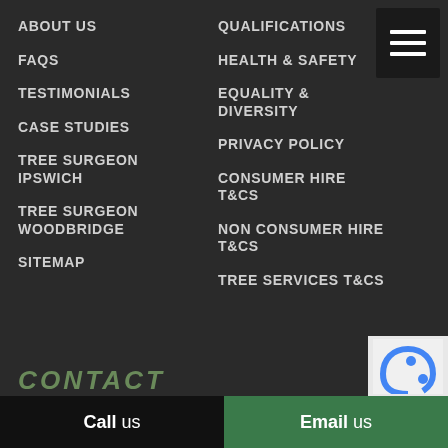ABOUT US
QUALIFICATIONS
FAQS
HEALTH & SAFETY
TESTIMONIALS
EQUALITY & DIVERSITY
CASE STUDIES
PRIVACY POLICY
TREE SURGEON IPSWICH
CONSUMER HIRE T&CS
TREE SURGEON WOODBRIDGE
NON CONSUMER HIRE T&CS
SITEMAP
TREE SERVICES T&CS
CONTACT
Call us
Email us